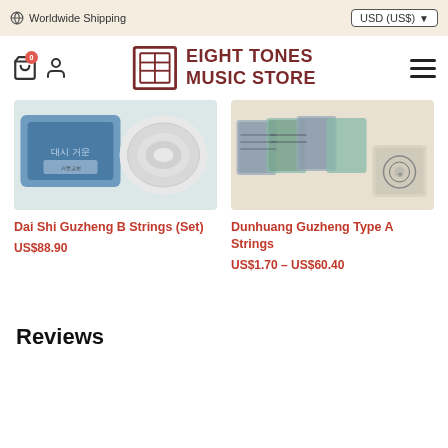Worldwide Shipping | USD (US$)
EIGHT TONES MUSIC STORE
[Figure (photo): Dai Shi Guzheng B Strings (Set) — product image showing blue packaging and white string coil]
Dai Shi Guzheng B Strings (Set)
US$88.90
[Figure (photo): Dunhuang Guzheng Type A Strings — product image showing multiple plastic-packaged string sets]
Dunhuang Guzheng Type A Strings
US$1.70 – US$60.40
Reviews